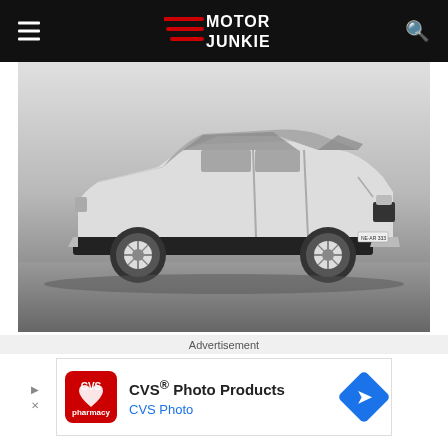Motor Junkie
[Figure (photo): Black and white photograph of a classic Rover sedan car (license plate NE-AR 333) in a studio setting, shot from a 3/4 front angle showing the full side profile]
Advertisement
[Figure (other): CVS Photo Products advertisement banner with CVS pharmacy logo, text 'CVS® Photo Products' and 'CVS Photo', with a blue directional arrow badge on the right]